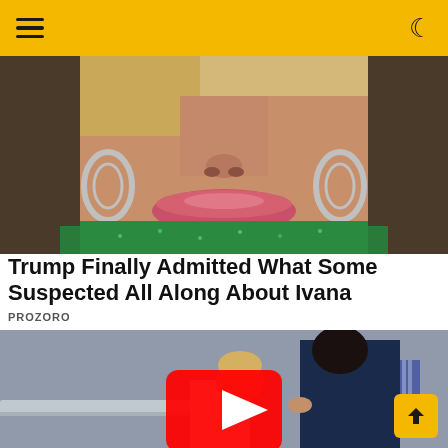Navigation header with hamburger menu and moon/dark-mode icon on yellow background
[Figure (photo): Close-up photo of a woman with blonde hair, large hoop earrings, pink lips, wearing a green glittery top]
Trump Finally Admitted What Some Suspected All Along About Ivana
PROZORO
[Figure (photo): Outdoor photo of a woman in navy blue jacket holding a crying young child, with YouTube play button overlay in the center]